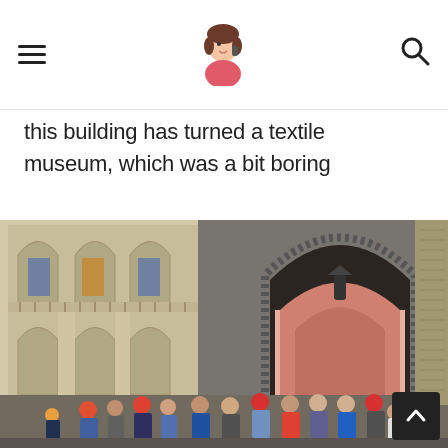[hamburger menu icon] [blog logo avatar] [search icon]
this building has turned a textile museum, which was a bit boring
[Figure (photo): Photograph of an ornate Indian palatial building (likely City Palace, Jaipur) showing elaborate Mughal and Rajput architecture with arched gateways, intricate stone carvings, and a crowd of tourists passing through a large ornamental gate.]